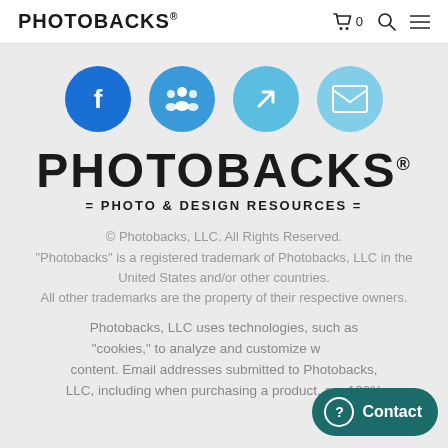PHOTOBACKS®
[Figure (illustration): Four circular social/action icons: Facebook (dark blue), Group/community (medium blue), Arrow/link (light blue), Mail/envelope (pale blue)]
PHOTOBACKS® = PHOTO & DESIGN RESOURCES =
© Photobacks, LLC. All Rights Reserved. "Photobacks" is a registered trademark of Photobacks, LLC in the United States and/or other countries. All other trademarks are the property of their respective owners.
Photobacks, LLC uses technologies, such as "cookies," to analyze and customize website content. Email addresses submitted to Photobacks, LLC, including when purchasing a product, are 100%